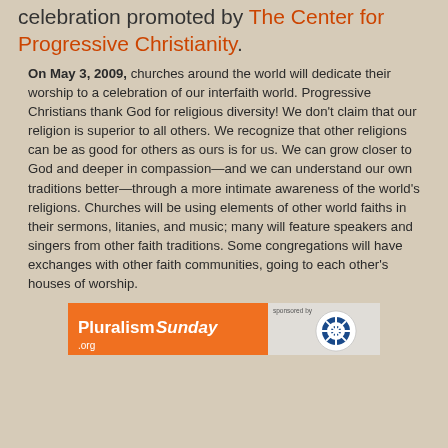celebration promoted by The Center for Progressive Christianity.
On May 3, 2009, churches around the world will dedicate their worship to a celebration of our interfaith world. Progressive Christians thank God for religious diversity! We don't claim that our religion is superior to all others. We recognize that other religions can be as good for others as ours is for us. We can grow closer to God and deeper in compassion—and we can understand our own traditions better—through a more intimate awareness of the world's religions. Churches will be using elements of other world faiths in their sermons, litanies, and music; many will feature speakers and singers from other faith traditions. Some congregations will have exchanges with other faith communities, going to each other's houses of worship.
[Figure (screenshot): PluralismSunday.org banner with orange and grey background and a circular logo on the right]